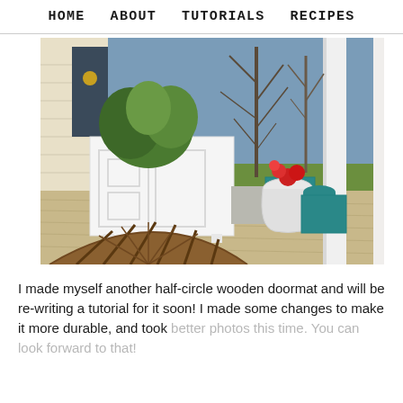HOME   ABOUT   TUTORIALS   RECIPES
[Figure (photo): A porch scene with white wooden planter boxes filled with green plants and flowers, a half-circle wooden doormat in the foreground, white porch columns, and bare trees and green grass in the background under a blue sky.]
I made myself another half-circle wooden doormat and will be re-writing a tutorial for it soon! I made some changes to make it more durable, and took better photos this time. You can look forward to that!